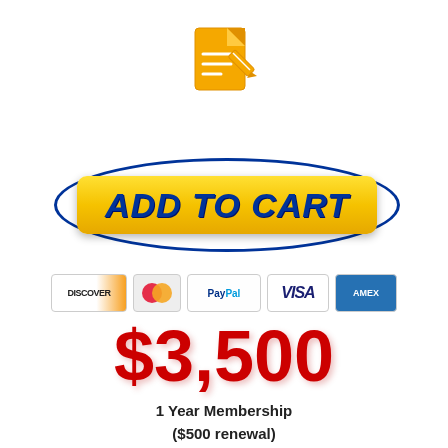[Figure (logo): Orange document/notepad icon with pencil]
[Figure (illustration): Yellow 'ADD TO CART' button with dark blue oval border, styled e-commerce button]
[Figure (illustration): Payment method icons: Discover, MasterCard, PayPal, Visa, Amex]
$3,500
1 Year Membership
($500 renewal)